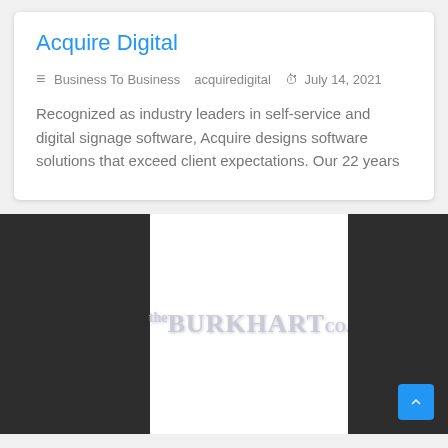Acquire Digital
Business To Business   acquiredigital   July 14, 2021
Recognized as industry leaders in self-service and digital signage software, Acquire designs software solutions that exceed client expectations. Our 22 years
[Figure (logo): The Burkhart Co. logo displayed in light grey text on a white background, flanked by dark side panels on a webpage screenshot.]